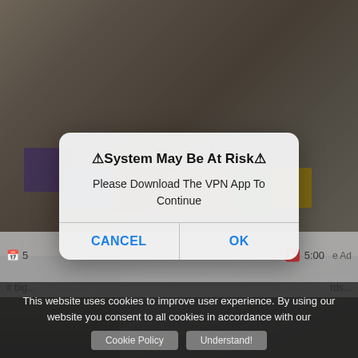[Figure (screenshot): Mobile browser screenshot showing adult website with massage scene thumbnail, overlaid by iOS-style system alert dialog]
⚠System May Be At Risk⚠
Please Download The VPN App To Continue
CANCEL
OK
This website uses cookies to improve user experience. By using our website you consent to all cookies in accordance with our
Cookie Policy
Understand!